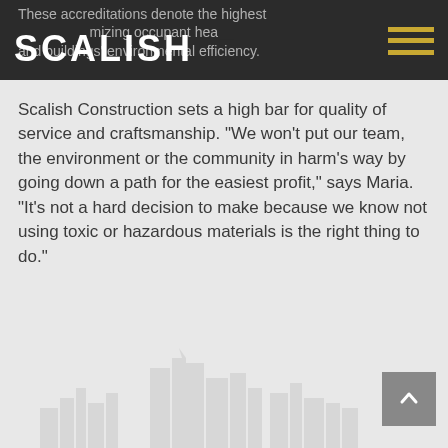These accreditations denote the highest commitment to maximizing occupant health and buildings' environmental efficiency.
SCALISH
Scalish Construction sets a high bar for quality of service and craftsmanship. "We won't put our team, the environment or the community in harm's way by going down a path for the easiest profit," says Maria. "It's not a hard decision to make because we know not using toxic or hazardous materials is the right thing to do."
[Figure (illustration): Faint city skyline silhouette in gray at the bottom of the page]